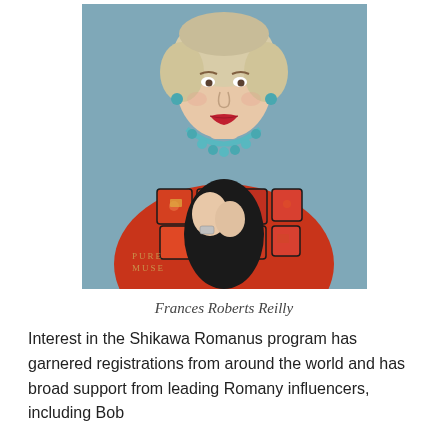[Figure (photo): Portrait photo of Frances Roberts Reilly, an older woman with short blonde hair, red lipstick, turquoise earrings and necklace, wearing a colorful red patterned jacket over a black top, with a watch on her wrist. Background is steel blue. Watermark text 'PURE MUSE' visible at lower left.]
Frances Roberts Reilly
Interest in the Shikawa Romanus program has garnered registrations from around the world and has broad support from leading Romany influencers, including Bob